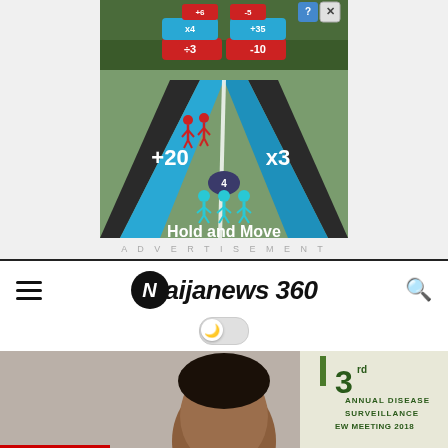[Figure (screenshot): Mobile game advertisement for 'Hold and Move' showing a runner game with blue and red stick figures on a road with math operators (+20, x3, ÷3, -10, etc.). Close button (X) visible in top right corner.]
ADVERTISEMENT
Naijanews 360
[Figure (photo): Partial photo of a person at what appears to be a '3rd Annual Disease Surveillance Review Meeting 2018' event. Only the top of a person's head and a banner/backdrop visible.]